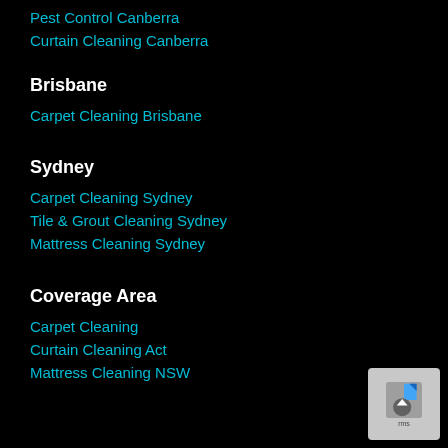Pest Control Canberra
Curtain Cleaning Canberra
Brisbane
Carpet Cleaning Brisbane
Sydney
Carpet Cleaning Sydney
Tile & Grout Cleaning Sydney
Mattress Cleaning Sydney
Coverage Area
Carpet Cleaning
Curtain Cleaning Act
Mattress Cleaning NSW